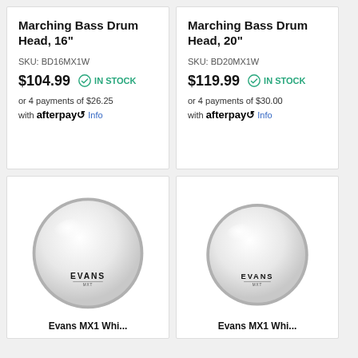Marching Bass Drum Head, 16"
SKU: BD16MX1W
$104.99  IN STOCK
or 4 payments of $26.25 with afterpay Info
Marching Bass Drum Head, 20"
SKU: BD20MX1W
$119.99  IN STOCK
or 4 payments of $30.00 with afterpay Info
[Figure (photo): Evans drum head, white circular drum head with EVANS logo]
Evans MX1 Whi...
[Figure (photo): Evans drum head, white circular drum head with EVANS logo, slightly smaller]
Evans MX1 Whi...